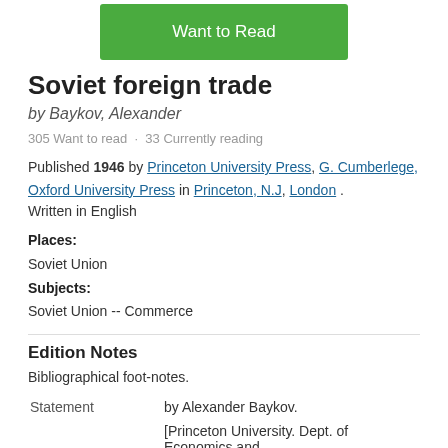[Figure (other): Green 'Want to Read' button]
Soviet foreign trade
by Baykov, Alexander
305 Want to read · 33 Currently reading
Published 1946 by Princeton University Press, G. Cumberlege, Oxford University Press in Princeton, N.J, London . Written in English
Places: Soviet Union Subjects: Soviet Union -- Commerce
Edition Notes
Bibliographical foot-notes.
|  |  |
| --- | --- |
| Statement | by Alexander Baykov. |
|  | [Princeton University. Dept. of Economics and |